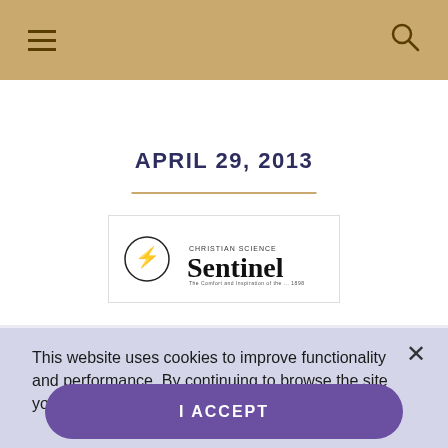Navigation bar with hamburger menu and search icon
APRIL 29, 2013
[Figure (logo): Christian Science Sentinel logo with circular emblem and publication name]
This website uses cookies to improve functionality and performance. By continuing to browse the site you are agreeing to our use of cookies.
I ACCEPT